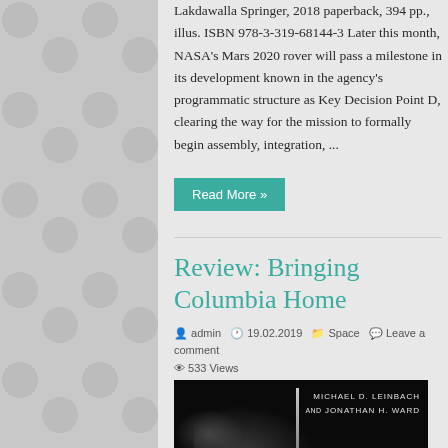Lakdawalla Springer, 2018 paperback, 394 pp., illus. ISBN 978-3-319-68144-3 Later this month, NASA's Mars 2020 rover will pass a milestone in its development known in the agency's programmatic structure as Key Decision Point D, clearing the way for the mission to formally begin assembly, integration, ...
Read More »
Review: Bringing Columbia Home
admin  19.02.2019  Space  Leave a comment  533 Views
[Figure (photo): Book cover of 'Bringing Columbia Home' by Michael D. Leinbach and Jonathan H. Ward. Dark cover with rocket launch silhouette and cloud imagery.]